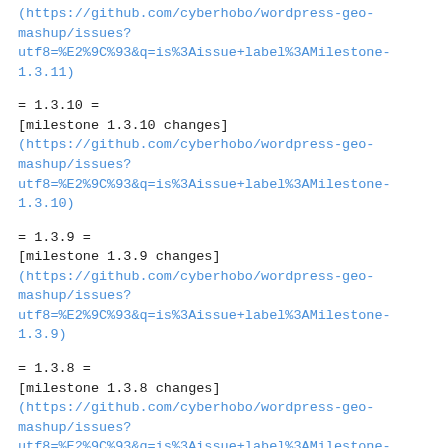(https://github.com/cyberhobo/wordpress-geo-mashup/issues?utf8=%E2%9C%93&q=is%3Aissue+label%3AMilestone-1.3.11)
= 1.3.10 =
[milestone 1.3.10 changes]
(https://github.com/cyberhobo/wordpress-geo-mashup/issues?utf8=%E2%9C%93&q=is%3Aissue+label%3AMilestone-1.3.10)
= 1.3.9 =
[milestone 1.3.9 changes]
(https://github.com/cyberhobo/wordpress-geo-mashup/issues?utf8=%E2%9C%93&q=is%3Aissue+label%3AMilestone-1.3.9)
= 1.3.8 =
[milestone 1.3.8 changes]
(https://github.com/cyberhobo/wordpress-geo-mashup/issues?utf8=%E2%9C%93&q=is%3Aissue+label%3AMilestone-1.3.8)
= 1.3.7 =
[milestone 1.3.7 changes]
(https://github.com/cyberhobo/wordpress-geo-mashup/issues?